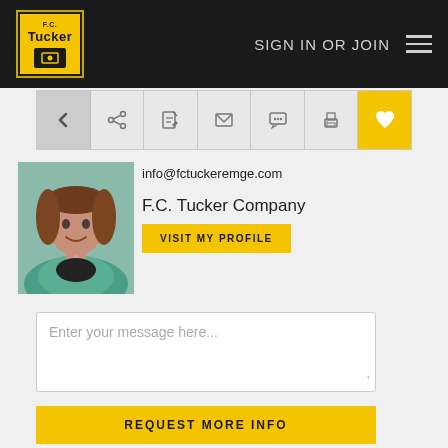F.C. Tucker — SIGN IN OR JOIN
[Figure (screenshot): Toolbar with back arrow, share, edit, email, chat, print, and heart/favorite icons. Last icon on yellow background.]
[Figure (photo): Agent headshot photo — woman with brown wavy hair wearing a teal/mint blazer, smiling]
info@fctuckeremge.com
F.C. Tucker Company
VISIT MY PROFILE
Enter your message here...
REQUEST MORE INFO
Property Description
Amazing brick and stone home with four bedrooms and